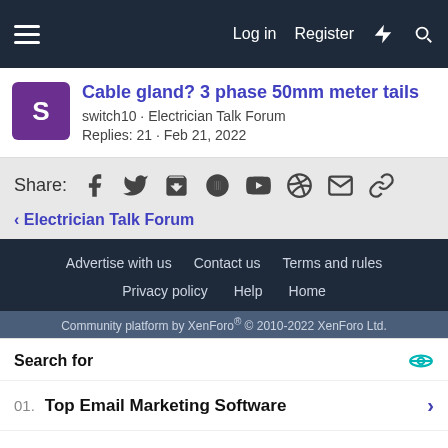Log in  Register
Cable gland? 3 phase 50mm meter tails
switch10 · Electrician Talk Forum
Replies: 21 · Feb 21, 2022
Share:
< Electrician Talk Forum
Advertise with us  Contact us  Terms and rules  Privacy policy  Help  Home
Community platform by XenForo® © 2010-2022 XenForo Ltd.
Search for
01.  Top Email Marketing Software
02.  Most Nutritious Doggy Foods
Yahoo! Search | Sponsored